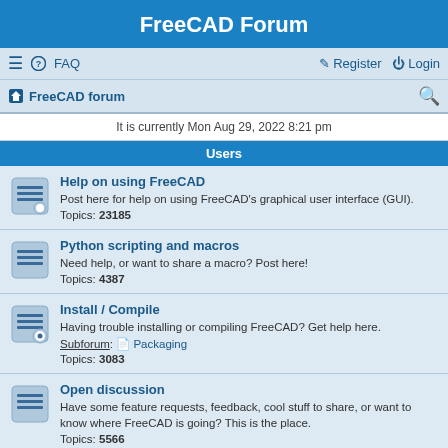FreeCAD Forum
≡  FAQ    Register  Login
🏠 FreeCAD forum  🔍
It is currently Mon Aug 29, 2022 8:21 pm
Users
Help on using FreeCAD
Post here for help on using FreeCAD's graphical user interface (GUI).
Topics: 23185
Python scripting and macros
Need help, or want to share a macro? Post here!
Topics: 4387
Install / Compile
Having trouble installing or compiling FreeCAD? Get help here.
Subforum: Packaging
Topics: 3083
Open discussion
Have some feature requests, feedback, cool stuff to share, or want to know where FreeCAD is going? This is the place.
Topics: 5566
Announcements & Features
Info about new community or project announcements, implemented features, classes, modules or APIs. Might get technical!
PLEASE DO NOT POST HELP REQUESTS OR OTHER DISCUSSIONS